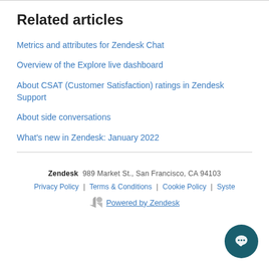Related articles
Metrics and attributes for Zendesk Chat
Overview of the Explore live dashboard
About CSAT (Customer Satisfaction) ratings in Zendesk Support
About side conversations
What's new in Zendesk: January 2022
Zendesk  989 Market St., San Francisco, CA 94103  Privacy Policy | Terms & Conditions | Cookie Policy | Syste... Powered by Zendesk